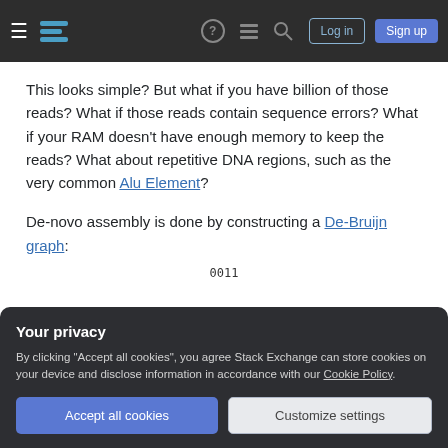Stack Exchange navigation bar with hamburger menu, logo, help, chat, search icons, Log in and Sign up buttons
This looks simple? But what if you have billion of those reads? What if those reads contain sequence errors? What if your RAM doesn't have enough memory to keep the reads? What about repetitive DNA regions, such as the very common Alu Element?
De-novo assembly is done by constructing a De-Bruijn graph:
[Figure (other): Partial De-Bruijn graph diagram with node label '0011' visible at top and partial graph edges with number '5' at bottom]
Your privacy
By clicking "Accept all cookies", you agree Stack Exchange can store cookies on your device and disclose information in accordance with our Cookie Policy.
Accept all cookies  Customize settings